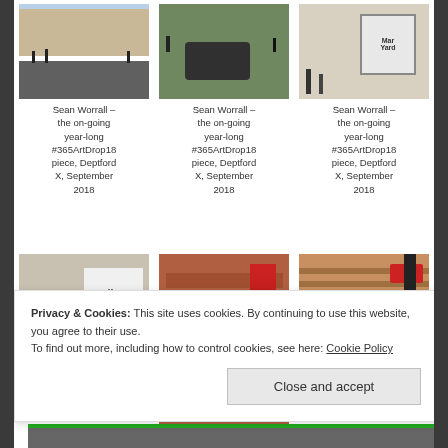[Figure (photo): Street scene photo 1 - Sean Worrall art drop, Deptford X]
Sean Worrall – the on-going year-long #365ArtDrop18 piece, Deptford X, September 2018
[Figure (photo): Street scene photo 2 - Sean Worrall art drop, Deptford X]
Sean Worrall – the on-going year-long #365ArtDrop18 piece, Deptford X, September 2018
[Figure (photo): Street scene photo 3 - Sean Worrall art drop, Deptford X]
Sean Worrall – the on-going year-long #365ArtDrop18 piece, Deptford X, September 2018
[Figure (photo): Street scene photo 4 - Sean Worrall art drop, Deptford X with Market Yard sign]
Sean Worrall – the on-going year-long #365ArtDrop18 piece
[Figure (photo): Brick wall with graffiti art - Sean Worrall art drop, Deptford X]
[Figure (photo): Brick wall with red sign - Sean Worrall art drop, Deptford X]
Sean Worrall – the on-going
Privacy & Cookies: This site uses cookies. By continuing to use this website, you agree to their use.
To find out more, including how to control cookies, see here: Cookie Policy
Close and accept